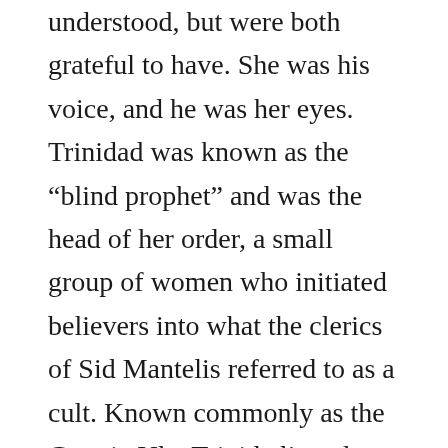understood, but were both grateful to have. She was his voice, and he was her eyes. Trinidad was known as the “blind prophet” and was the head of her order, a small group of women who initiated believers into what the clerics of Sid Mantelis referred to as a cult. Known commonly as the Coterie Ule, Trinidad’s order was peaceful and had been of great use to the church in the past because Trinidad’s dreams had a habit of coming true. For this reason alone their order was tolerated, and in return she provided counsel for the Chief Cleric. Now though, she felt this change of hands would threaten her safety and the safety of her coterie when the new Chief Cleric ascended that night.